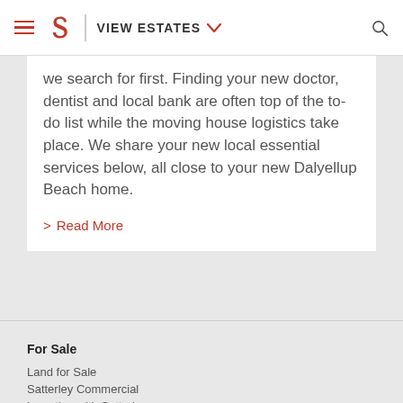VIEW ESTATES
we search for first. Finding your new doctor, dentist and local bank are often top of the to-do list while the moving house logistics take place. We share your new local essential services below, all close to your new Dalyellup Beach home.
> Read More
For Sale
Land for Sale
Satterley Commercial
Investing with Satterley
Western Australia
Perth Metro North